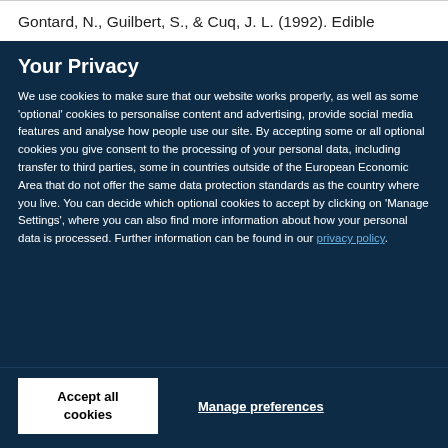Gontard, N., Guilbert, S., & Cuq, J. L. (1992). Edible
Your Privacy
We use cookies to make sure that our website works properly, as well as some 'optional' cookies to personalise content and advertising, provide social media features and analyse how people use our site. By accepting some or all optional cookies you give consent to the processing of your personal data, including transfer to third parties, some in countries outside of the European Economic Area that do not offer the same data protection standards as the country where you live. You can decide which optional cookies to accept by clicking on 'Manage Settings', where you can also find more information about how your personal data is processed. Further information can be found in our privacy policy.
Accept all cookies
Manage preferences